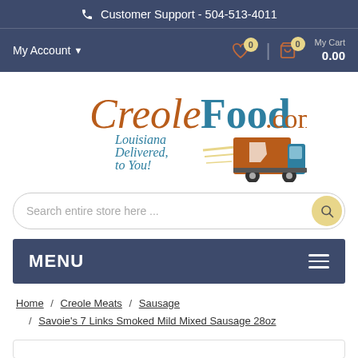Customer Support - 504-513-4011
My Account | 0 | My Cart 0 | 0.00
[Figure (logo): CreoleFood.com logo with delivery truck. Text: CreoleFood.com Louisiana Delivered, to You!]
Search entire store here ...
MENU
Home / Creole Meats / Sausage / Savoie's 7 Links Smoked Mild Mixed Sausage 28oz